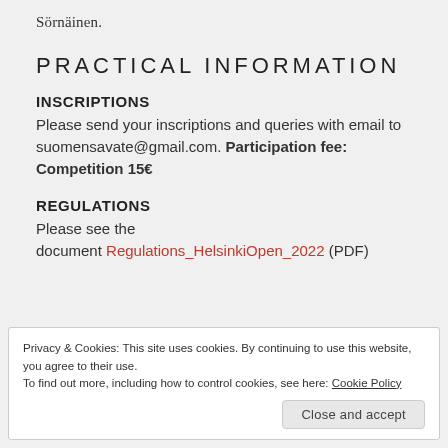Sörnäinen.
PRACTICAL INFORMATION
INSCRIPTIONS
Please send your inscriptions and queries with email to suomensavate@gmail.com. Participation fee: Competition 15€
REGULATIONS
Please see the document Regulations_HelsinkiOpen_2022 (PDF)
Privacy & Cookies: This site uses cookies. By continuing to use this website, you agree to their use.
To find out more, including how to control cookies, see here: Cookie Policy
Close and accept